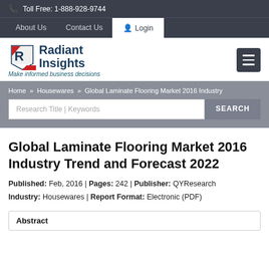Toll Free: 1-888-928-9744
About Us   Contact Us   Login
[Figure (logo): Radiant Insights logo with stylized R and tagline Make informed business decisions]
Home » Housewares » Global Laminate Flooring Market 2016 Industry
Research Title | Keywords  SEARCH
Global Laminate Flooring Market 2016 Industry Trend and Forecast 2022
Published: Feb, 2016 | Pages: 242 | Publisher: QYResearch Industry: Housewares | Report Format: Electronic (PDF)
Abstract